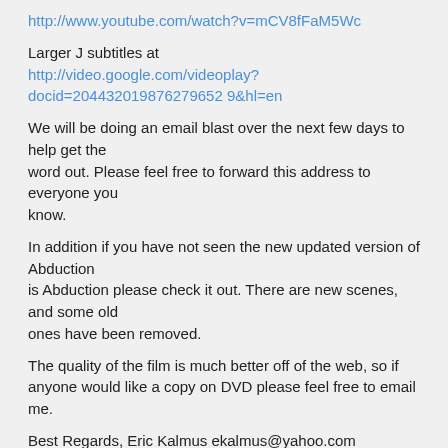http://www.youtube.com/watch?v=mCV8fFaM5Wc
Larger J subtitles at
http://video.google.com/videoplay?docid=204432019876279652 9&hl=en
We will be doing an email blast over the next few days to help get the word out. Please feel free to forward this address to everyone you know.
In addition if you have not seen the new updated version of Abduction is Abduction please check it out. There are new scenes, and some old ones have been removed.
The quality of the film is much better off of the web, so if anyone would like a copy on DVD please feel free to email me.
Best Regards, Eric Kalmus ekalmus@yahoo.com
=========================
PERTINENT LINKS